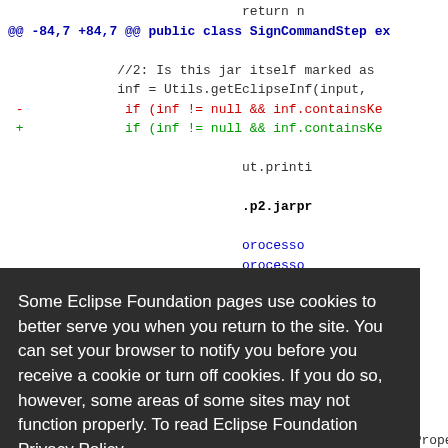[Figure (screenshot): Code diff view showing changes to a Java class SignCommandStep with lines beginning with @@ -84,7 +84,7 @@ public class SignCommandStep ex. Lines include //2: Is this jar itself marked as, inf = Utils.getEclipseInf(input, and diff lines with if (inf != null && inf.containsKe in red and green.]
Some Eclipse Foundation pages use cookies to better serve you when you return to the site. You can set your browser to notify you before you receive a cookie or turn off cookies. If you do so, however, some areas of some sites may not function properly. To read Eclipse Foundation Privacy Policy
click here.
Decline
Allow cookies